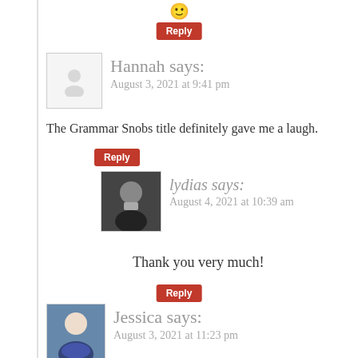[Figure (illustration): Smiley face emoji]
[Figure (illustration): Reply button (red)]
Hannah says:
August 3, 2021 at 9:41 pm
The Grammar Snobs title definitely gave me a laugh.
[Figure (illustration): Reply button (red)]
[Figure (photo): Lydias avatar photo - person holding cup]
lydias says:
August 4, 2021 at 10:39 am
Thank you very much!
[Figure (illustration): Reply button (red)]
[Figure (illustration): Jessica avatar - anime style character]
Jessica says:
August 3, 2021 at 11:23 pm
The Bunnicula books help cement my enjoyment of p full title of Good Omens, but my goodness it's a grea
And thank goodness for George Carlin, he always ask